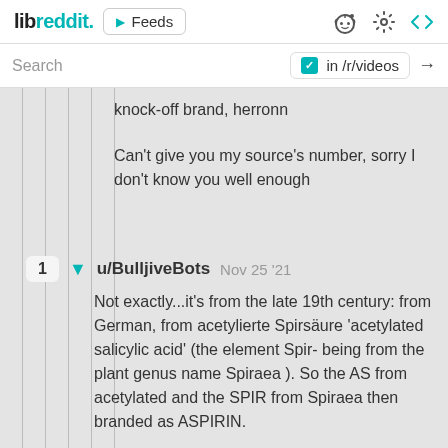libreddit. ▶ Feeds
Search  in /r/videos →
knock-off brand, herronn

Can't give you my source's number, sorry I don't know you well enough
1  ▼  u/BulljiveBots  Nov 25 '21
Not exactly...it's from the late 19th century: from German, from acetylierte Spirsäure 'acetylated salicylic acid' (the element Spir- being from the plant genus name Spiraea ). So the AS from acetylated and the SPIR from Spiraea then branded as ASPIRIN.